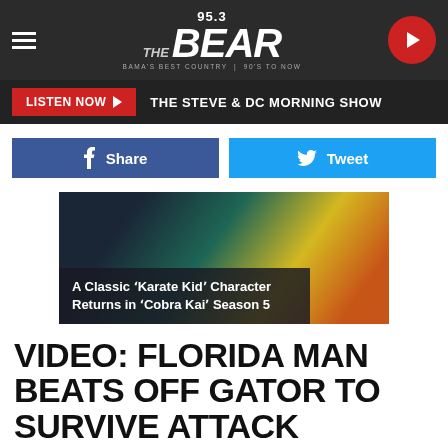[Figure (screenshot): 95.3 The Bear radio station header logo with hamburger menu and play button]
LISTEN NOW ▶  THE STEVE & DC MORNING SHOW
[Figure (screenshot): Social share buttons: Facebook Share and Twitter Tweet]
[Figure (photo): Article thumbnail with colorful background and overlay text: A Classic 'Karate Kid' Character Returns in 'Cobra Kai' Season 5]
VIDEO: FLORIDA MAN BEATS OFF GATOR TO SURVIVE ATTACK
DC
[Figure (screenshot): Audio player bar with play button, infinity/loop button, and navigation diamond arrow]